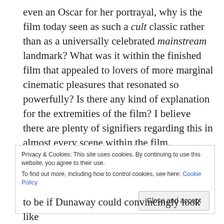even an Oscar for her portrayal, why is the film today seen as such a cult classic rather than as a universally celebrated mainstream landmark? What was it within the finished film that appealed to lovers of more marginal cinematic pleasures that resonated so powerfully? Is there any kind of explanation for the extremities of the film? I believe there are plenty of signifiers regarding this in almost every scene within the film.
Privacy & Cookies: This site uses cookies. By continuing to use this website, you agree to their use. To find out more, including how to control cookies, see here: Cookie Policy
Close and accept
to be if Dunaway could convincingly look like